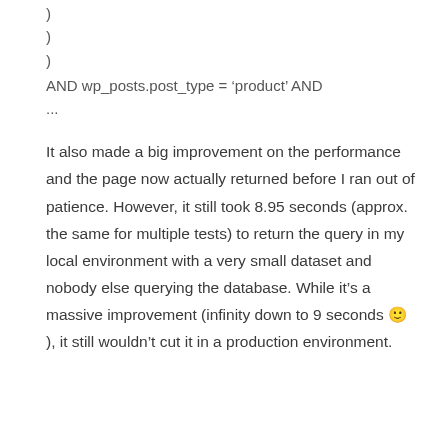)
)
)
AND wp_posts.post_type = 'product' AND
...
It also made a big improvement on the performance and the page now actually returned before I ran out of patience. However, it still took 8.95 seconds (approx. the same for multiple tests) to return the query in my local environment with a very small dataset and nobody else querying the database. While it's a massive improvement (infinity down to 9 seconds 🙂 ), it still wouldn't cut it in a production environment.